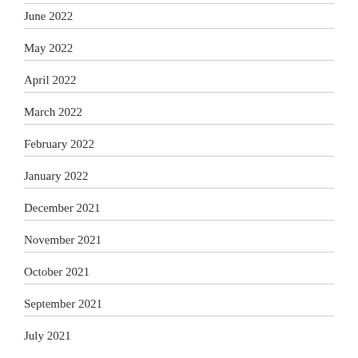June 2022
May 2022
April 2022
March 2022
February 2022
January 2022
December 2021
November 2021
October 2021
September 2021
July 2021